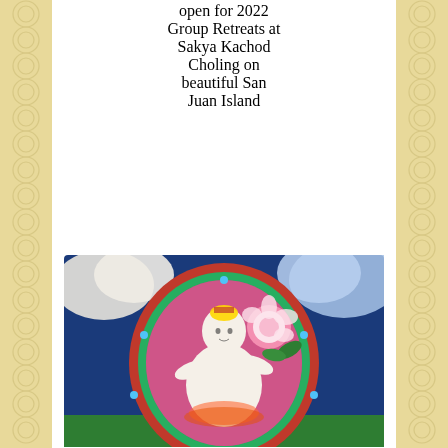open for 2022 Group Retreats at Sakya Kachod Choling on beautiful San Juan Island
[Figure (illustration): Tibetan Buddhist thangka painting depicting a white deity (likely White Tara) seated in meditation, surrounded by a pink and red oval aureole, with a blue background and colorful floral elements including lotus flowers and peony-like blooms.]